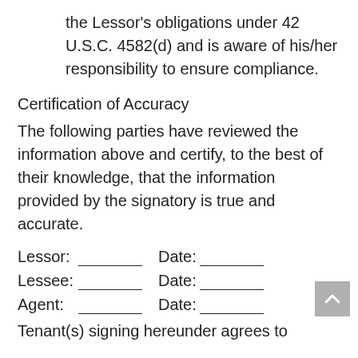the Lessor's obligations under 42 U.S.C. 4582(d) and is aware of his/her responsibility to ensure compliance.
Certification of Accuracy
The following parties have reviewed the information above and certify, to the best of their knowledge, that the information provided by the signatory is true and accurate.
Lessor: ________ Date: ________
Lessee: ________ Date: ________
Agent: ________ Date: ________
Tenant(s) signing hereunder agrees to